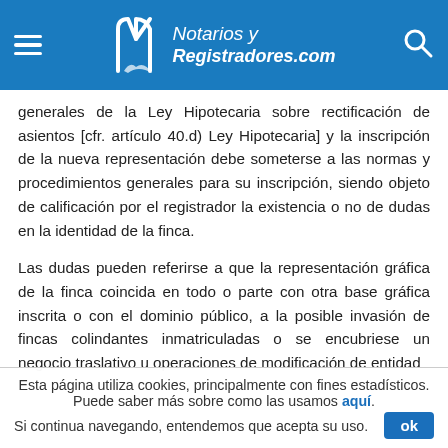Notarios y Registradores.com
generales de la Ley Hipotecaria sobre rectificación de asientos [cfr. artículo 40.d) Ley Hipotecaria] y la inscripción de la nueva representación debe someterse a las normas y procedimientos generales para su inscripción, siendo objeto de calificación por el registrador la existencia o no de dudas en la identidad de la finca.
Las dudas pueden referirse a que la representación gráfica de la finca coincida en todo o parte con otra base gráfica inscrita o con el dominio público, a la posible invasión de fincas colindantes inmatriculadas o se encubriese un negocio traslativo u operaciones de modificación de entidad
Esta página utiliza cookies, principalmente con fines estadísticos. Puede saber más sobre como las usamos aquí. Si continua navegando, entendemos que acepta su uso.